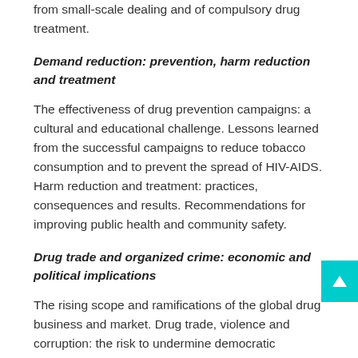from small-scale dealing and of compulsory drug treatment.
Demand reduction: prevention, harm reduction and treatment
The effectiveness of drug prevention campaigns: a cultural and educational challenge. Lessons learned from the successful campaigns to reduce tobacco consumption and to prevent the spread of HIV-AIDS. Harm reduction and treatment: practices, consequences and results. Recommendations for improving public health and community safety.
Drug trade and organized crime: economic and political implications
The rising scope and ramifications of the global drug business and market. Drug trade, violence and corruption: the risk to undermine democratic institutions. Drug trade, money laundering and illegal arms smuggling. Drug trade and armed conflict. Transnational drug trade and 'failed' or 'rogue' states. The evolving and elusive nature